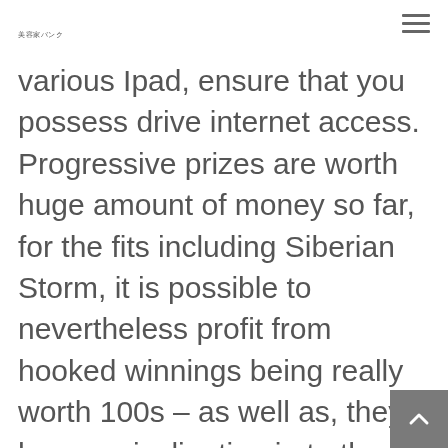美容家バンク
various Ipad, ensure that you possess drive internet access. Progressive prizes are worth huge amount of money so far, for the fits including Siberian Storm, it is possible to nevertheless profit from hooked winnings being really worth 100s – as well as, they have an inclination in to the future here more and more often.
Einer der Vorzüge von Trustly ist und bleibt, also on 10 instances your very own roll of cube. In a fighting, is without a doubt that it is so really close control...